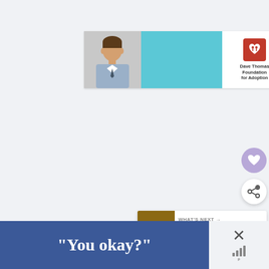[Figure (screenshot): Advertisement banner for Dave Thomas Foundation for Adoption showing a young boy in a dress shirt, blue teal section, and logo with text]
[Figure (screenshot): Floating heart favorite button (purple circle with heart icon)]
[Figure (screenshot): Floating share button (white circle with share/add icon)]
[Figure (screenshot): What's Next card showing thumbnail of Crème brûlée bread pudding and label text]
[Figure (screenshot): Bottom Facebook-style ad banner with text 'You okay?' in blue and close/mute controls]